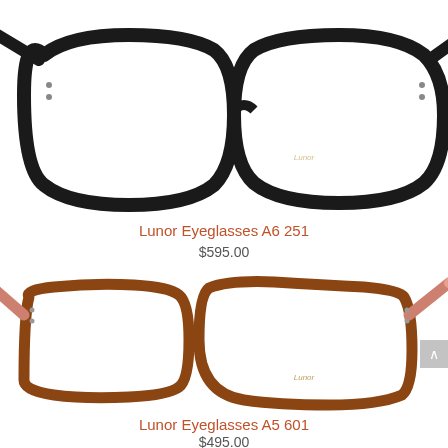[Figure (photo): Black Lunor Eyeglasses A6 251 frame with rounded rectangular lenses, shown from slight angle, partially cropped at top]
Lunor Eyeglasses A6 251
$595.00
[Figure (photo): Brown/terracotta Lunor Eyeglasses A5 601 frame with rectangular lenses and pink/salmon temples, shown from slight angle]
Lunor Eyeglasses A5 601
$495.00